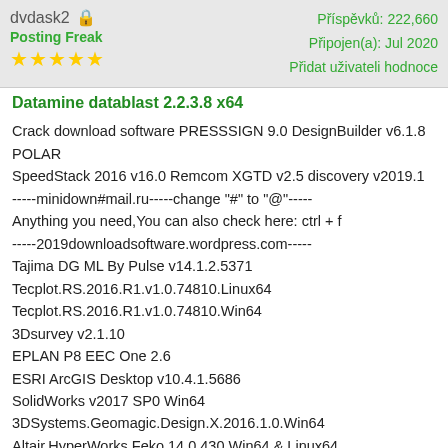dvdask2 | Příspěvků: 222,660 | Připojen(a): Jul 2020 | Přidat uživateli hodnoce | Posting Freak
Datamine datablast 2.2.3.8 x64
Crack download software PRESSSIGN 9.0 DesignBuilder v6.1.8 POLAR SpeedStack 2016 v16.0 Remcom XGTD v2.5 discovery v2019.1
-----minidown#mail.ru-----change "#" to "@"-----
Anything you need,You can also check here: ctrl + f
-----2019downloadsoftware.wordpress.com-----
Tajima DG ML By Pulse v14.1.2.5371
Tecplot.RS.2016.R1.v1.0.74810.Linux64
Tecplot.RS.2016.R1.v1.0.74810.Win64
3Dsurvey v2.1.10
EPLAN P8 EEC One 2.6
ESRI ArcGIS Desktop v10.4.1.5686
SolidWorks v2017 SP0 Win64
3DSystems.Geomagic.Design.X.2016.1.0.Win64
Altair.HyperWorks.Feko.14.0.430.Win64.&.Linux64
Altair.HyperWorks.Solvers.14.0.230.Win64.&.Linux64
Altair.HyperWorks.Virtual.Wind.Tunnel.14.3.2719.Win64
Fekete.FAST.FieldNotes.v5.0.1.3
IMST Empire XPU v8.0
Vectorworks 2020 SP4
PackEdge & Plato v18.0